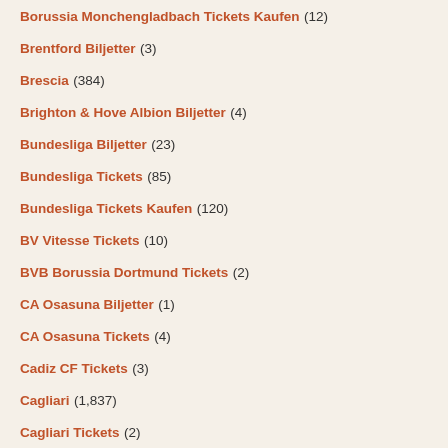Borussia Monchengladbach Tickets Kaufen (12)
Brentford Biljetter (3)
Brescia (384)
Brighton & Hove Albion Biljetter (4)
Bundesliga Biljetter (23)
Bundesliga Tickets (85)
Bundesliga Tickets Kaufen (120)
BV Vitesse Tickets (10)
BVB Borussia Dortmund Tickets (2)
CA Osasuna Biljetter (1)
CA Osasuna Tickets (4)
Cadiz CF Tickets (3)
Cagliari (1,837)
Cagliari Tickets (2)
Cambuur Leeuwarden Tickets (3)